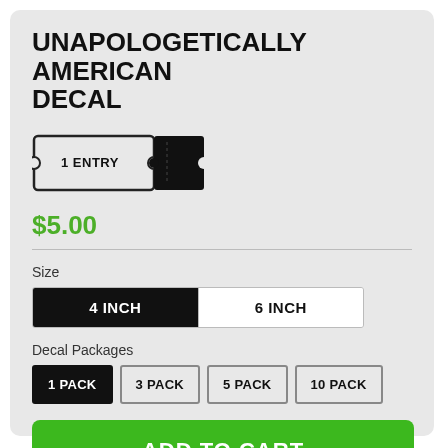UNAPOLOGETICALLY AMERICAN DECAL
[Figure (illustration): Raffle ticket icon showing '1 ENTRY' text on a ticket with perforated edge and a black stub]
$5.00
Size
| 4 INCH | 6 INCH |
| --- | --- |
Decal Packages
| 1 PACK | 3 PACK | 5 PACK | 10 PACK |
| --- | --- | --- | --- |
ADD TO CART